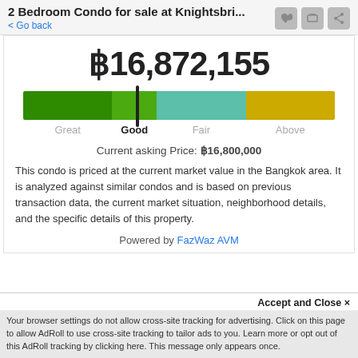2 Bedroom Condo for sale at Knightsbri...
< Go back
฿16,872,155
[Figure (infographic): Horizontal color gauge bar with four segments: dark green (Great), medium green (Good), teal (Fair), yellow-gold (Above). A needle marker sits between Good and the boundary of Good/Fair, indicating the current price position at 'Good'.]
Current asking Price: ฿16,800,000
This condo is priced at the current market value in the Bangkok area. It is analyzed against similar condos and is based on previous transaction data, the current market situation, neighborhood details, and the specific details of this property.
Powered by FazWaz AVM
Accept and Close ✕
Your browser settings do not allow cross-site tracking for advertising. Click on this page to allow AdRoll to use cross-site tracking to tailor ads to you. Learn more or opt out of this AdRoll tracking by clicking here. This message only appears once.